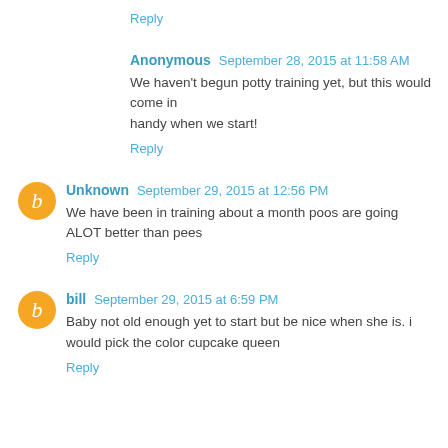Reply
Anonymous  September 28, 2015 at 11:58 AM
We haven't begun potty training yet, but this would come in handy when we start!
Reply
Unknown  September 29, 2015 at 12:56 PM
We have been in training about a month poos are going ALOT better than pees
Reply
bill  September 29, 2015 at 6:59 PM
Baby not old enough yet to start but be nice when she is. i would pick the color cupcake queen
Reply